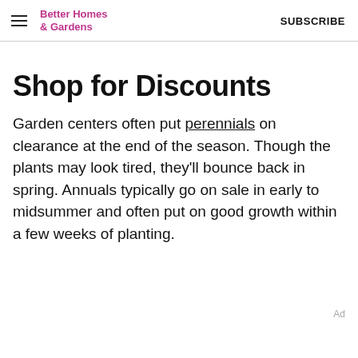Better Homes & Gardens  SUBSCRIBE
Shop for Discounts
Garden centers often put perennials on clearance at the end of the season. Though the plants may look tired, they'll bounce back in spring. Annuals typically go on sale in early to midsummer and often put on good growth within a few weeks of planting.
Ad